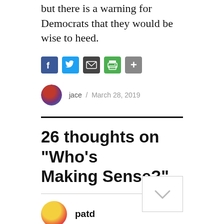but there is a warning for Democrats that they would be wise to heed.
[Figure (infographic): Social share icons: Facebook (blue), Twitter (blue), Email (dark grey), Print (green), Share (grey)]
jace / March 28, 2019
26 thoughts on “Who’s Making Sense?”
patd
March 28, 2019 at 5:48 am
jace, glad to see you up and about